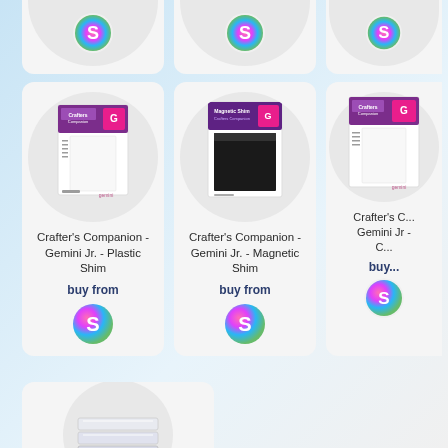[Figure (screenshot): E-commerce product grid showing Crafter's Companion Gemini Jr. accessories. Top row shows three partially visible product cards each with an 'S' logo (Sizzix/Spotlight). Middle row shows: 1) Crafter's Companion - Gemini Jr. - Plastic Shim with product image and buy from S logo; 2) Crafter's Companion - Gemini Jr. - Magnetic Shim with product image and buy from S logo; 3) Partially visible third product card. Bottom row shows a partially visible product card with a clear/acrylic shim product image.]